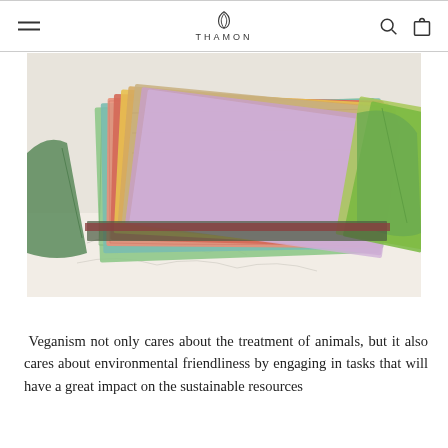THAMON
[Figure (photo): Stack of colorful handmade papers fanned out, showing green, pink, red, yellow, gold, purple, and lavender sheets with textured plant fiber surfaces, casting shadows on a white surface]
Veganism not only cares about the treatment of animals, but it also cares about environmental friendliness by engaging in tasks that will have a great impact on the sustainable resources